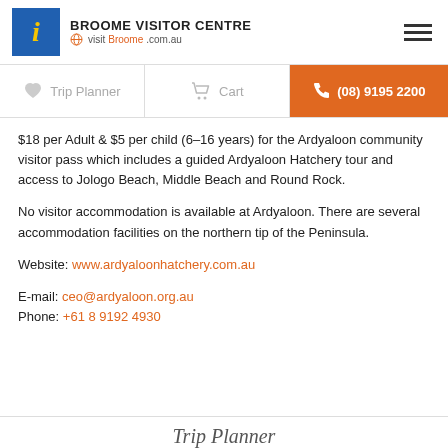BROOME VISITOR CENTRE visitBroome.com.au
$18 per Adult & $5 per child (6–16 years) for the Ardyaloon community visitor pass which includes a guided Ardyaloon Hatchery tour and access to Jologo Beach, Middle Beach and Round Rock.
No visitor accommodation is available at Ardyaloon. There are several accommodation facilities on the northern tip of the Peninsula.
Website: www.ardyaloonhatchery.com.au
E-mail: ceo@ardyaloon.org.au
Phone: +61 8 9192 4930
Trip Planner